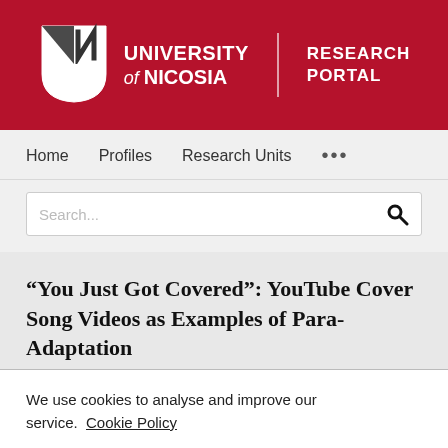[Figure (logo): University of Nicosia Research Portal logo with shield emblem on dark red background]
Home   Profiles   Research Units   ...
Search...
“You Just Got Covered”: YouTube Cover Song Videos as Examples of Para-Adaptation
We use cookies to analyse and improve our service. Cookie Policy